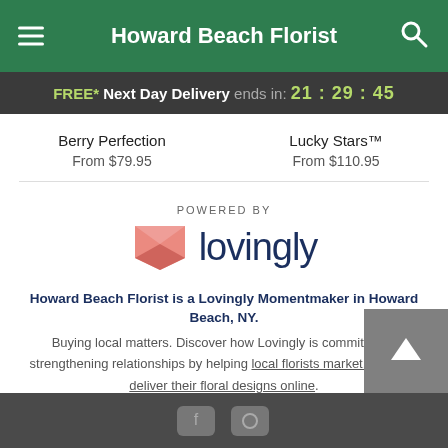Howard Beach Florist
FREE* Next Day Delivery ends in: 21:29:45
Berry Perfection
From $79.95
Lucky Stars™
From $110.95
[Figure (logo): Lovingly logo with heart/envelope icon and text 'lovingly'. Preceded by 'POWERED BY' label.]
Howard Beach Florist is a Lovingly Momentmaker in Howard Beach, NY.
Buying local matters. Discover how Lovingly is committed to strengthening relationships by helping local florists market, sell, and deliver their floral designs online.